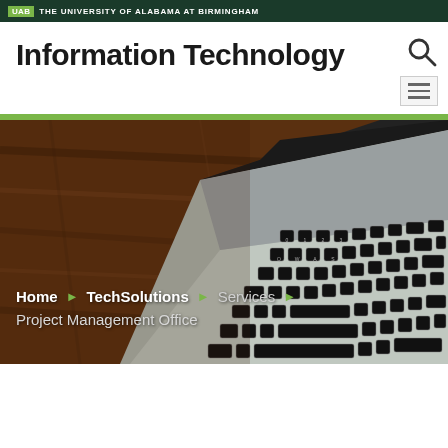UAB THE UNIVERSITY OF ALABAMA AT BIRMINGHAM
Information Technology
[Figure (screenshot): Hero image showing a laptop keyboard on a wooden table surface, photographed from above at an angle. A breadcrumb navigation overlay reads: Home > TechSolutions > Services and Project Management Office.]
Home > TechSolutions > Services > Project Management Office